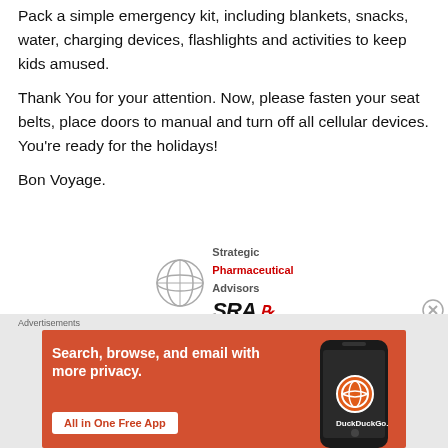Pack a simple emergency kit, including blankets, snacks, water, charging devices, flashlights and activities to keep kids amused.
Thank You for your attention. Now, please fasten your seat belts, place doors to manual and turn off all cellular devices. You're ready for the holidays!
Bon Voyage.
[Figure (logo): Strategic Pharmaceutical Advisors (SRA) logo with globe graphic, bold SRA text and Rx symbol]
[Figure (screenshot): DuckDuckGo advertisement banner: orange background, text 'Search, browse, and email with more privacy. All in One Free App', phone image with DuckDuckGo logo]